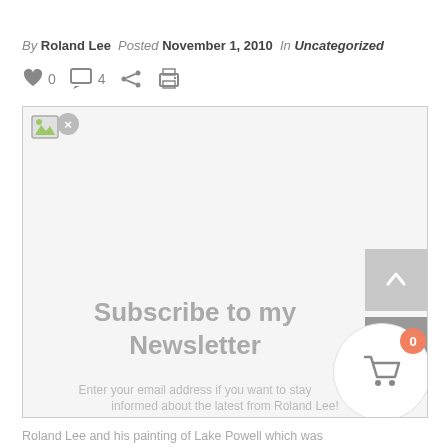By Roland Lee  Posted November 1, 2010  In Uncategorized
[Figure (screenshot): Blog post metadata icons: heart with 0, comment bubble with 4, share icon, print icon]
[Figure (photo): Broken image placeholder with close button, overlaid with Subscribe to my Newsletter text and email input prompt]
Roland Lee and his painting of Lake Powell which was